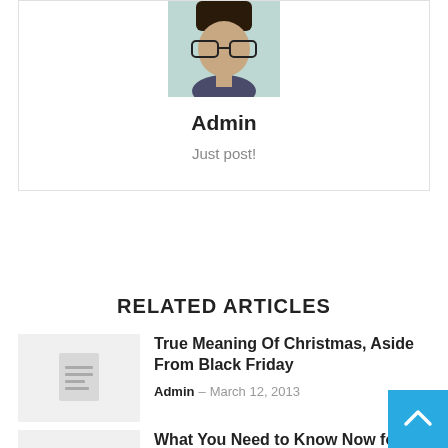[Figure (photo): Profile photo of a person wearing glasses, partially cropped]
Admin
Just post!
RELATED ARTICLES
[Figure (illustration): Grey placeholder thumbnail with document/text icon]
True Meaning Of Christmas, Aside From Black Friday
Admin – March 12, 2013
[Figure (illustration): Grey placeholder thumbnail, partially visible]
What You Need to Know Now for